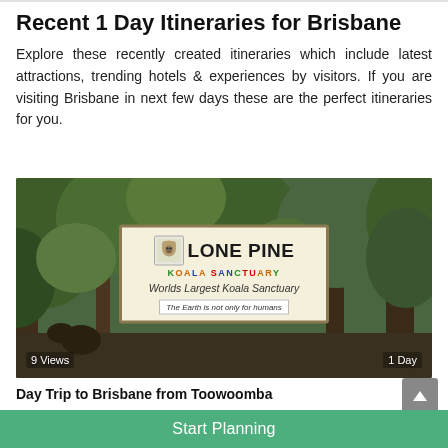Recent 1 Day Itineraries for Brisbane
Explore these recently created itineraries which include latest attractions, trending hotels & experiences by visitors. If you are visiting Brisbane in next few days these are the perfect itineraries for you.
[Figure (photo): Photo of Lone Pine Koala Sanctuary entrance sign surrounded by trees. Sign reads: LONE PINE KOALA SANCTUARY, Worlds Largest Koala Sanctuary, The Earth is not only for humans. Overlay text: 9 Views (bottom left), 1 Day (bottom right).]
Day Trip to Brisbane from Toowoomba
Start Planning